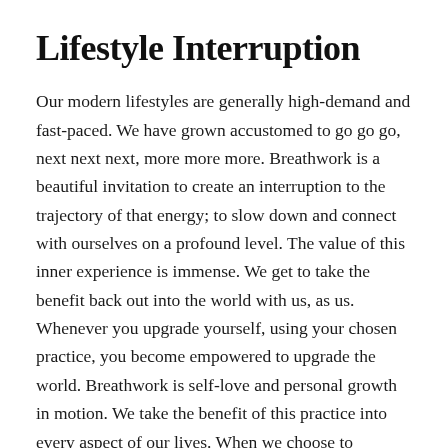Lifestyle Interruption
Our modern lifestyles are generally high-demand and fast-paced. We have grown accustomed to go go go, next next next, more more more. Breathwork is a beautiful invitation to create an interruption to the trajectory of that energy; to slow down and connect with ourselves on a profound level. The value of this inner experience is immense. We get to take the benefit back out into the world with us, as us. Whenever you upgrade yourself, using your chosen practice, you become empowered to upgrade the world. Breathwork is self-love and personal growth in motion. We take the benefit of this practice into every aspect of our lives. When we choose to consciously interrupt the same-old status quo in our lives, unfathomable gifts await us.